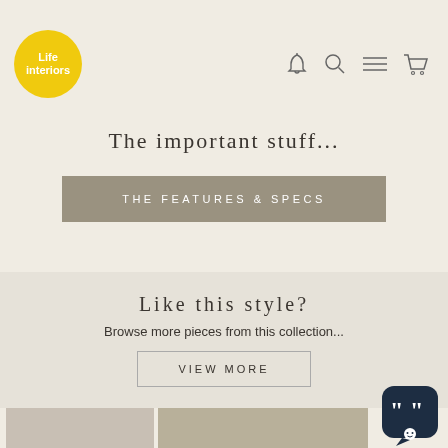[Figure (logo): Life Interiors logo — white text on yellow circle]
The important stuff...
THE FEATURES & SPECS
Like this style?
Browse more pieces from this collection...
VIEW MORE
[Figure (photo): Product lifestyle photos shown at bottom of page]
[Figure (other): Chat support widget icon in bottom right corner]